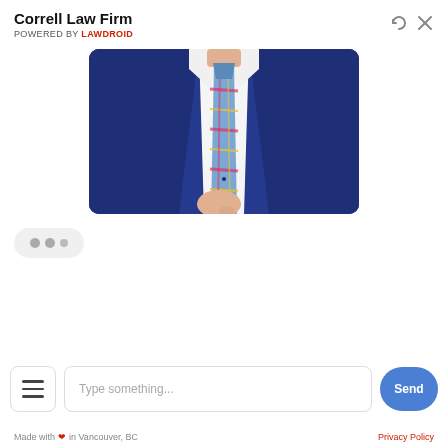Correll Law Firm
POWERED BY LAWDROID
[Figure (photo): Close-up photo of a man in a navy blue suit and a colorful plaid/madras tie, with one hand visible near the tie.]
[Figure (other): Typing indicator bubble with three dots showing bot is responding.]
Type something...
Send
Made with ❤ in Vancouver, BC
Privacy Policy